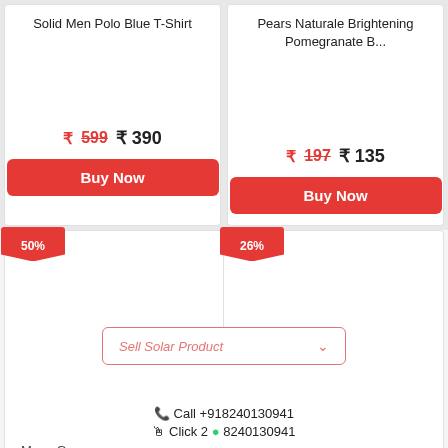Solid Men Polo Blue T-Shirt
₹599  ₹ 390
Buy Now
Pears Naturale Brightening Pomegranate B...
₹197  ₹ 135
Buy Now
50%
26%
Sell Solar Product
📞 Call +918240130941
🖱 Click 2 💬 8240130941
Mens Grey